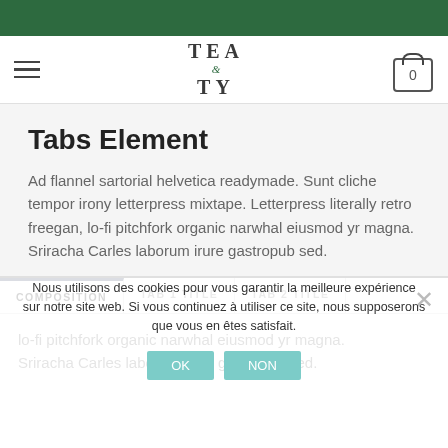TEA & TY — navigation header with hamburger menu and cart icon showing 0
Tabs Element
Ad flannel sartorial helvetica readymade. Sunt cliche tempor irony letterpress mixtape. Letterpress literally retro freegan, lo-fi pitchfork organic narwhal eiusmod yr magna. Sriracha Carles laborum irure gastropub sed.
COMPOSITION
TAB 1 TITLE
TAB 2 TITLE
lo-fi pitchfork organic narwhal eiusmod yr magna. Sriracha Carles laborum irure gastropub sed.
Nous utilisons des cookies pour vous garantir la meilleure expérience sur notre site web. Si vous continuez à utiliser ce site, nous supposerons que vous en êtes satisfait.